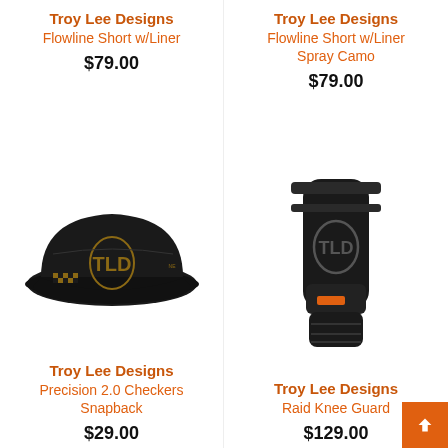Troy Lee Designs
Flowline Short w/Liner
$79.00
[Figure (photo): Troy Lee Designs Flowline Short w/Liner product (not visible, top half cut off)]
Troy Lee Designs
Flowline Short w/Liner Spray Camo
$79.00
[Figure (photo): Troy Lee Designs Flowline Short w/Liner Spray Camo product (not visible, top half cut off)]
[Figure (photo): Black Troy Lee Designs Precision 2.0 Checkers Snapback hat with gold logo]
Troy Lee Designs
Precision 2.0 Checkers Snapback
$29.00
[Figure (photo): Black Troy Lee Designs Raid Knee Guard with logo]
Troy Lee Designs
Raid Knee Guard
$129.00